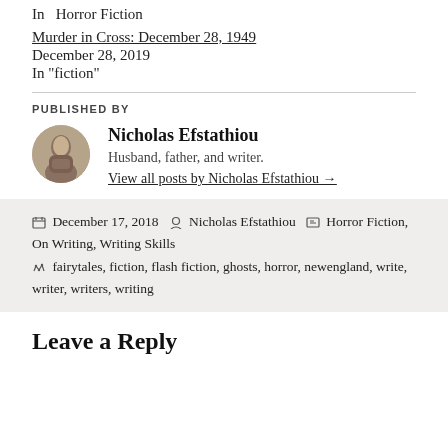In  Horror Fiction
Murder in Cross: December 28, 1949
December 28, 2019
In "fiction"
PUBLISHED BY
Nicholas Efstathiou
Husband, father, and writer.
View all posts by Nicholas Efstathiou →
December 17, 2018  Nicholas Efstathiou  Horror Fiction, On Writing, Writing Skills  fairytales, fiction, flash fiction, ghosts, horror, newengland, write, writer, writers, writing
Leave a Reply